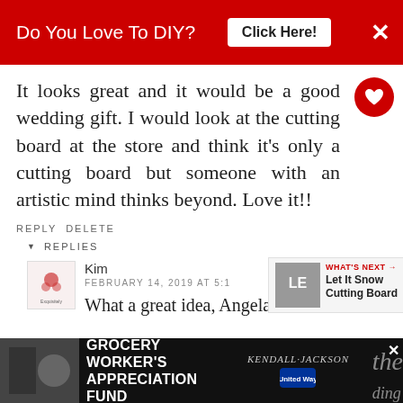[Figure (screenshot): Red advertisement banner at top: 'Do You Love To DIY?' with 'Click Here!' button and X close icon]
It looks great and it would be a good wedding gift. I would look at the cutting board at the store and think it's only a cutting board but someone with an artistic mind thinks beyond. Love it!!
REPLY DELETE
REPLIES
Kim
FEBRUARY 14, 2019 AT 5:1
What a great idea, Angela!
[Figure (screenshot): Bottom advertisement banner: Grocery Worker's Appreciation Fund with Kendall-Jackson and United Way logos]
[Figure (screenshot): What's Next panel showing 'Let It Snow Cutting Board']